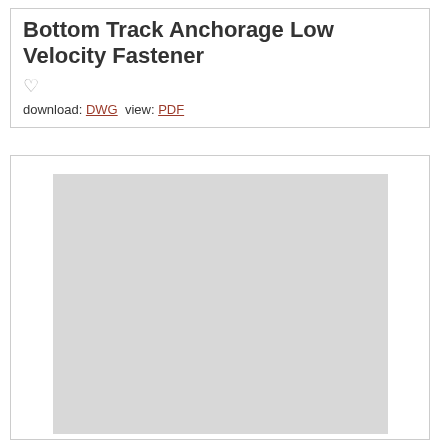Bottom Track Anchorage Low Velocity Fastener ♡
download: DWG  view: PDF
[Figure (other): Gray placeholder rectangle representing a technical drawing or diagram of a Bottom Track Anchorage Low Velocity Fastener]